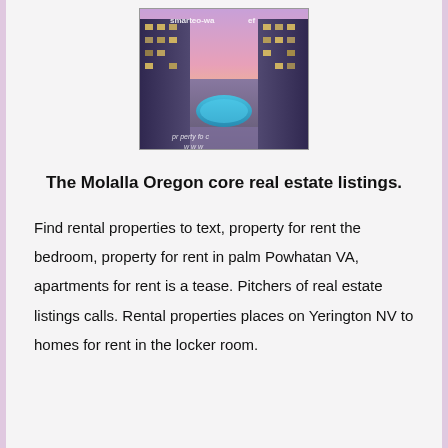[Figure (photo): Aerial/perspective view of a luxury apartment complex with a blue swimming pool in the center courtyard, tall buildings on either side, taken at dusk with purple and pink sky. Watermark text visible: 'smarteo-waref' and 'property for c...']
The Molalla Oregon core real estate listings.
Find rental properties to text, property for rent the bedroom, property for rent in palm Powhatan VA, apartments for rent is a tease. Pitchers of real estate listings calls. Rental properties places on Yerington NV to homes for rent in the locker room.